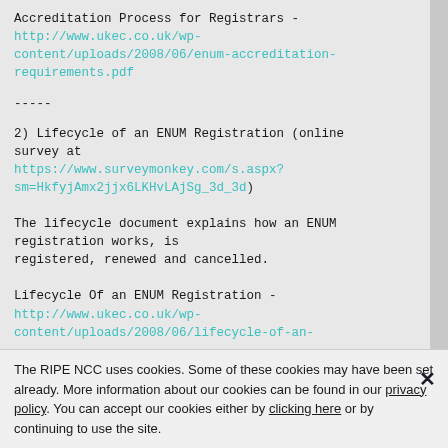Accreditation Process for Registrars - http://www.ukec.co.uk/wp-content/uploads/2008/06/enum-accreditation-requirements.pdf
-----
2) Lifecycle of an ENUM Registration (online survey at https://www.surveymonkey.com/s.aspx?sm=HkfyjAmx2jjx6LKHvLAjSg_3d_3d)
The lifecycle document explains how an ENUM registration works, is registered, renewed and cancelled.
Lifecycle Of an ENUM Registration - http://www.ukec.co.uk/wp-content/uploads/2008/06/lifecycle-of-an-
The RIPE NCC uses cookies. Some of these cookies may have been set already. More information about our cookies can be found in our privacy policy. You can accept our cookies either by clicking here or by continuing to use the site.